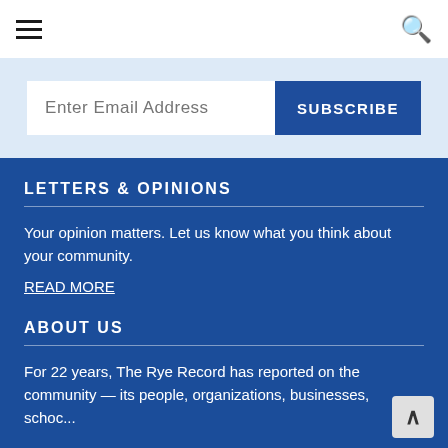Navigation menu and search icon
Enter Email Address | SUBSCRIBE
LETTERS & OPINIONS
Your opinion matters. Let us know what you think about your community.
READ MORE
ABOUT US
For 22 years, The Rye Record has reported on the community — its people, organizations, businesses, schoc...